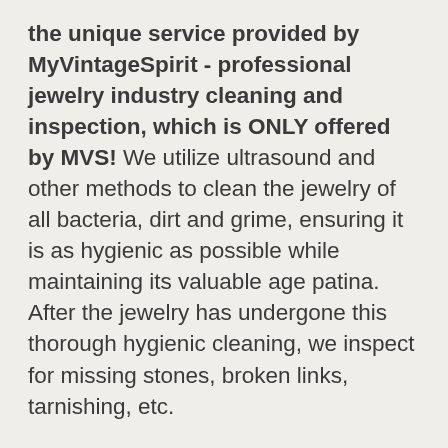the unique service provided by MyVintageSpirit - professional jewelry industry cleaning and inspection, which is ONLY offered by MVS!  We utilize ultrasound and other methods to clean the jewelry of all bacteria, dirt and grime, ensuring it is as hygienic as possible while maintaining its valuable age patina.  After the jewelry has undergone this thorough hygienic cleaning,  we inspect for missing stones, broken links, tarnishing, etc.
Finally we sort the items into quality pieces offered individually on in our shop,and those that are bundled into lots to be repurposed by